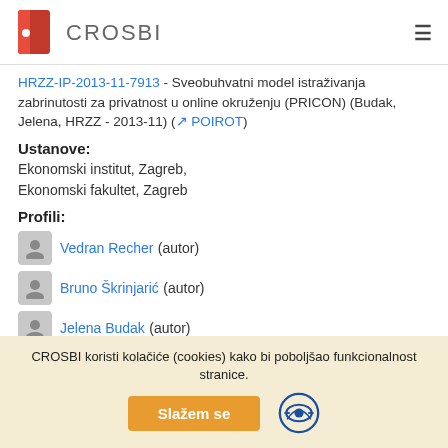CROSBI
HRZZ-IP-2013-11-7913 - Sveobuhvatni model istraživanja zabrinutosti za privatnost u online okruženju (PRICON) (Budak, Jelena, HRZZ - 2013-11) ( POIROT)
Ustanove:
Ekonomski institut, Zagreb,
Ekonomski fakultet, Zagreb
Profili:
Vedran Recher (autor)
Bruno Škrinjarić (autor)
Jelena Budak (autor)
Edo Rajh (autor)
CROSBI koristi kolačiće (cookies) kako bi poboljšao funkcionalnost stranice.